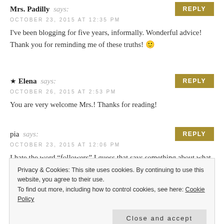Mrs. Padilly says:
REPLY
OCTOBER 23, 2015 AT 12:35 PM
I've been blogging for five years, informally. Wonderful advice! Thank you for reminding me of these truths! 🙂
★ Elena says:
REPLY
OCTOBER 26, 2015 AT 2:53 PM
You are very welcome Mrs.! Thanks for reading!
pia says:
REPLY
OCTOBER 23, 2015 AT 12:06 PM
I hate the word “followers” I guess that says something about what I think of blogging. First I loved this post. My friends didn’t understand blogging but they would say to me “how can you write about life when all
Privacy & Cookies: This site uses cookies. By continuing to use this website, you agree to their use.
To find out more, including how to control cookies, see here: Cookie Policy
Close and accept
mine – I was riding higher than just about anyone but bloggers are “only